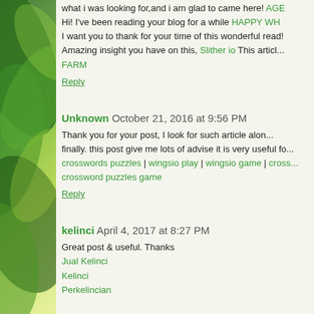what i was looking for,and i am glad to came here! AGE Hi! I've been reading your blog for a while HAPPY WH... I want you to thank for your time of this wonderful read! Amazing insight you have on this, Slither io This articl... FARM
Reply
Unknown October 21, 2016 at 9:56 PM
Thank you for your post, I look for such article alon... finally. this post give me lots of advise it is very useful fo... crosswords puzzles | wingsio play | wingsio game | cross... crossword puzzles game
Reply
kelinci April 4, 2017 at 8:27 PM
Great post & useful. Thanks
Jual Kelinci
Kelinci
Perkelincian